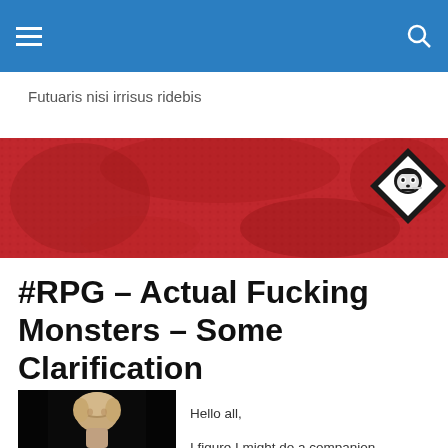Futuaris nisi irrisus ridebis
[Figure (illustration): Red textured banner with a black diamond logo containing a white skull/face icon on the right side]
#RPG – Actual Fucking Monsters – Some Clarification
[Figure (photo): Black and white photo of a person with short light-colored hair against a dark background]
Hello all,

I figure I might do a companion